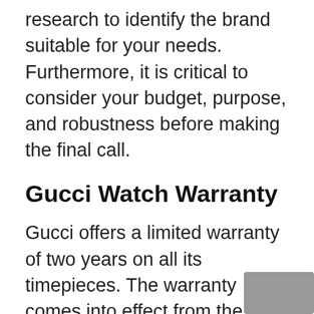research to identify the brand suitable for your needs. Furthermore, it is critical to consider your budget, purpose, and robustness before making the final call.
Gucci Watch Warranty
Gucci offers a limited warranty of two years on all its timepieces. The warranty comes into effect from the date of purchase and upon obtaining a valid certificate from the dealer on purchase. According to Gucci's policy, the warranty covers all defective components of the timepiece and manufacturing defects.